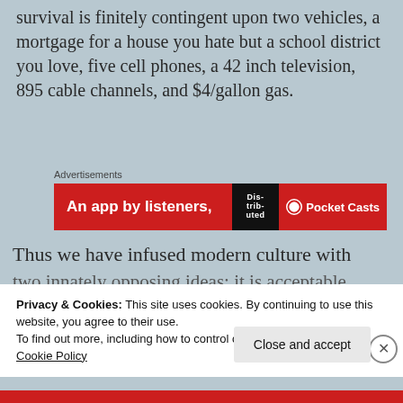survival is finitely contingent upon two vehicles, a mortgage for a house you hate but a school district you love, five cell phones, a 42 inch television, 895 cable channels, and $4/gallon gas.
[Figure (other): Advertisement banner for Pocket Casts app showing red background with text 'An app by listeners,' and book graphic, Pocket Casts logo on right]
Thus we have infused modern culture with two innately opposing ideas: it is acceptable
Privacy & Cookies: This site uses cookies. By continuing to use this website, you agree to their use.
To find out more, including how to control cookies, see here:
Cookie Policy
Close and accept